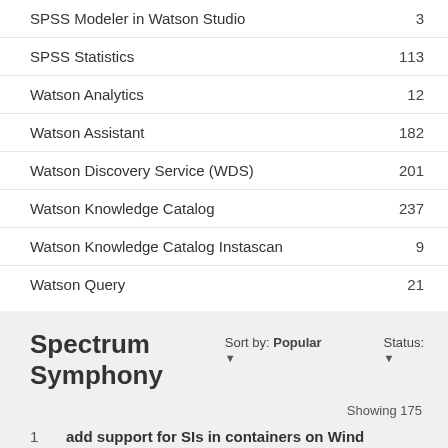SPSS Modeler in Watson Studio  3
SPSS Statistics  113
Watson Analytics  12
Watson Assistant  182
Watson Discovery Service (WDS)  201
Watson Knowledge Catalog  237
Watson Knowledge Catalog Instascan  9
Watson Query  21
Spectrum Symphony
Sort by: Popular ▼   Status: ▼
Showing 175
1  add support for SIs in containers on Wind